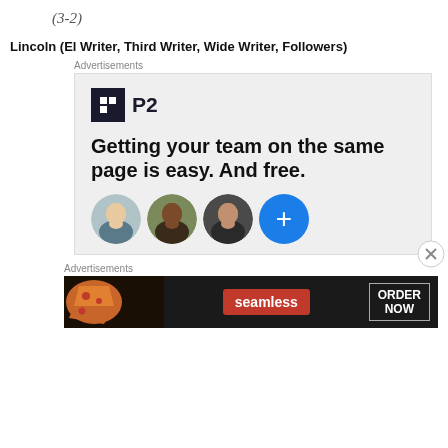Lincoln (El Writer, Third Writer, Wide Writer, Followers)
Advertisements
[Figure (screenshot): P2 advertisement: logo with dark square icon and text 'P2', tagline 'Getting your team on the same page is easy. And free.' with three circular avatar photos and a blue plus button. Close X button at bottom right.]
Advertisements
[Figure (screenshot): Seamless food delivery advertisement with pizza image on left, Seamless red logo in center, and 'ORDER NOW' button on right, all on dark background.]